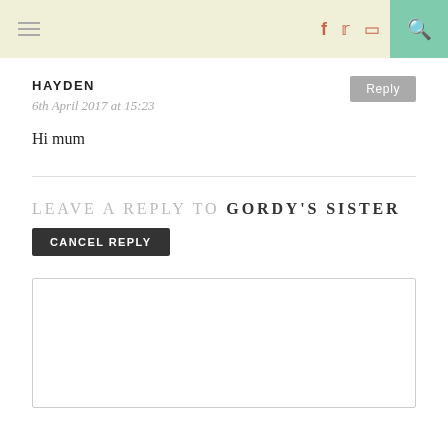Navigation header with menu, social icons (f, twitter, instagram) and search
HAYDEN
6th April 2017 at 15:23
Hi mum
LEAVE A REPLY TO GORDY'S SISTER CANCEL REPLY